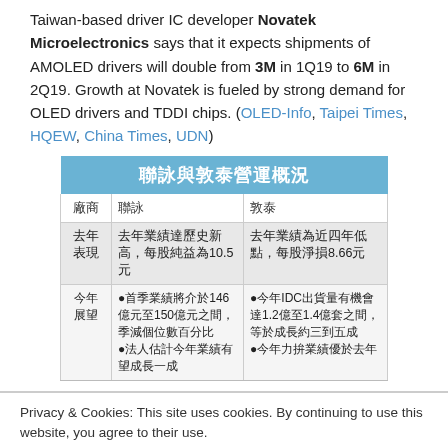Taiwan-based driver IC developer Novatek Microelectronics says that it expects shipments of AMOLED drivers will double from 3M in 1Q19 to 6M in 2Q19. Growth at Novatek is fueled by strong demand for OLED drivers and TDDI chips. (OLED-Info, Taipei Times, HQEW, China Times, UDN)
| 廠商 | 聯詠 | 敦泰 |
| --- | --- | --- |
| 去年表現 | 去年業績達歷史新高，每股純益為10.5元 | 去年業績為近四年低點，每股淨損8.66元 |
| 今年展望 | ●首季業績將介於146億元至150億元之間，季減個位數百分比
●法人估計今年業績有望成長一成 | ●今年IDC出貨量有機會達1.2億至1.4億套之間，等於成長約三到五成
●今年力拚業績優於去年 |
Privacy & Cookies: This site uses cookies. By continuing to use this website, you agree to their use.
To find out more, including how to control cookies, see here: Cookie Policy
Close and accept
應用力策